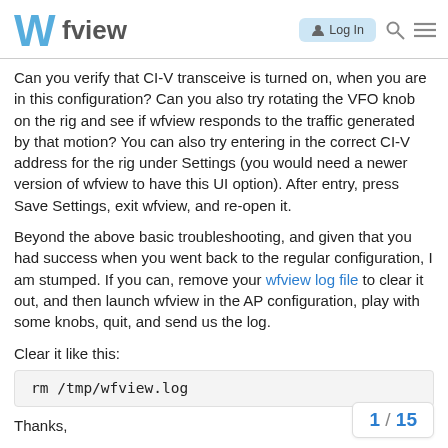Wfview — Log In
Can you verify that CI-V transceive is turned on, when you are in this configuration? Can you also try rotating the VFO knob on the rig and see if wfview responds to the traffic generated by that motion? You can also try entering in the correct CI-V address for the rig under Settings (you would need a newer version of wfview to have this UI option). After entry, press Save Settings, exit wfview, and re-open it.
Beyond the above basic troubleshooting, and given that you had success when you went back to the regular configuration, I am stumped. If you can, remove your wfview log file to clear it out, and then launch wfview in the AP configuration, play with some knobs, quit, and send us the log.
Clear it like this:
Thanks,
1 / 15